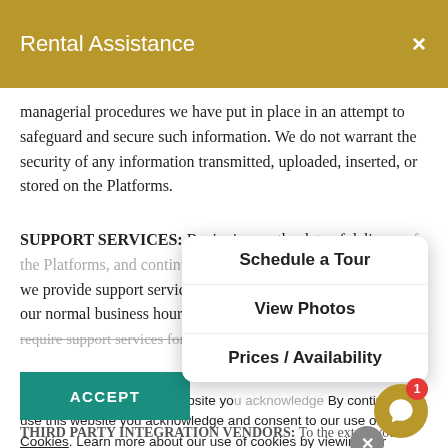Rental Assistance ×
managerial procedures we have put in place in an attempt to safeguard and secure such information. We do not warrant the security of any information transmitted, uploaded, inserted, or stored on the Platforms.
SUPPORT SERVICES: Beginning on the date of delivery of the Platforms, and continuing during the term of the agreement, we provide support services for technical failures during our normal business hours by phone. We do not provide support services for issues attributed to...
By continuing to use this website you acknowledge and consent to our use of Cookies. Learn more about our use of cookies by viewing our Privacy Policy.
[Figure (screenshot): Popup menu overlay with three options: Schedule a Tour, View Photos, Prices / Availability, and a close X circle button]
ACCEPT
THIRD PARTY INTEGRATION VENDORS: To the extent you